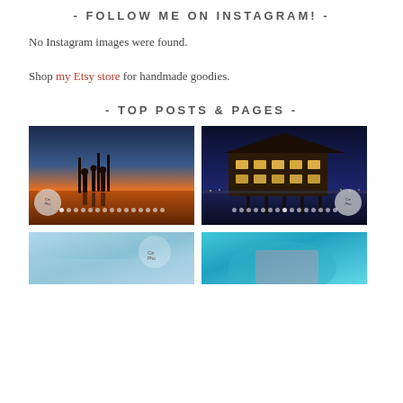- FOLLOW ME ON INSTAGRAM! -
No Instagram images were found.
Shop my Etsy store for handmade goodies.
- TOP POSTS & PAGES -
[Figure (photo): Silhouettes of people with surfboards at sunset on a beach, orange and blue sky, reflection on wet sand]
[Figure (photo): Illuminated pier restaurant/building at night with city lights in background, dark blue sky]
[Figure (photo): Partial view of a photo showing light blue/teal color, partial skin/arm visible, cropped at bottom]
[Figure (photo): Partial view of a photo showing turquoise/blue tones, cropped at bottom]